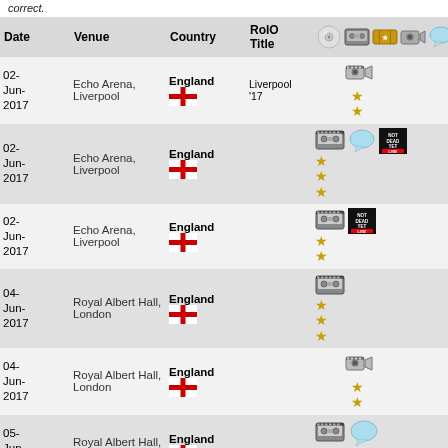correct.
| Date | Venue | Country | RoIO Title | Icons |
| --- | --- | --- | --- | --- |
| 02-Jun-2017 | Echo Arena, Liverpool | England | Liverpool '17 | video+2stars |
| 02-Jun-2017 | Echo Arena, Liverpool | England |  | tape+3stars+chat+notdeadyet |
| 02-Jun-2017 | Echo Arena, Liverpool | England |  | tape+2stars+notdeadyet |
| 04-Jun-2017 | Royal Albert Hall, London | England |  | tape+3stars |
| 04-Jun-2017 | Royal Albert Hall, London | England |  | video+2stars |
| 05-Jun-2017 | Royal Albert Hall, London | England |  | tape+2stars+chat |